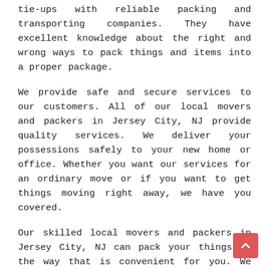tie-ups with reliable packing and transporting companies. They have excellent knowledge about the right and wrong ways to pack things and items into a proper package.
We provide safe and secure services to our customers. All of our local movers and packers in Jersey City, NJ provide quality services. We deliver your possessions safely to your new home or office. Whether you want our services for an ordinary move or if you want to get things moving right away, we have you covered.
Our skilled local movers and packers in Jersey City, NJ can pack your things in the way that is convenient for you. We provide various methods to pack your things. We will pack your belongings in a manner that allows you to easily move about with your things. If you need to do some refurbishing of your office or home, we will help with that as well. Our experienced local movers and packers in Jersey City, NJ offer various services. Check out our